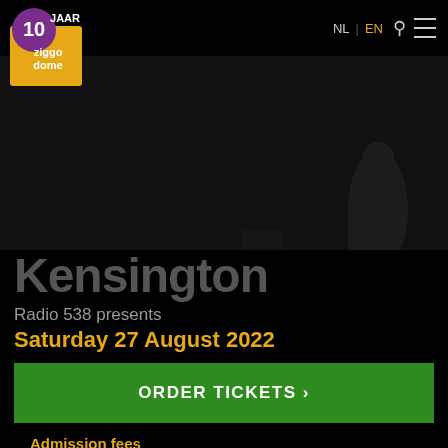[Figure (logo): Ziggo Dome 10 jaar logo - orange square with white '10' and 'JAAR' text, purple circle with white Ziggo Dome text]
NL | EN
[Figure (photo): Dark concert venue/stage photo with silhouette of performer visible on right side]
Kensington
Radio 538 presents
Saturday 27 August 2022
ORDER TICKETS >
Admission fees
1st rank - Standing (€ 55,00)
1st tier - Best Seats (€ 65,00)
1st tier - Best Seats (€ 55,00)